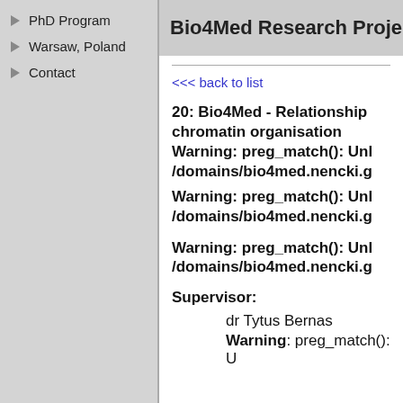Bio4Med Research Proje...
PhD Program
Warsaw, Poland
Contact
<<< back to list
20: Bio4Med - Relationship chromatin organisation Warning: preg_match(): Unl /domains/bio4med.nencki.g
Warning: preg_match(): Unl /domains/bio4med.nencki.g
Warning: preg_match(): Unl /domains/bio4med.nencki.g
Supervisor:
dr Tytus Bernas
Warning: preg_match(): U